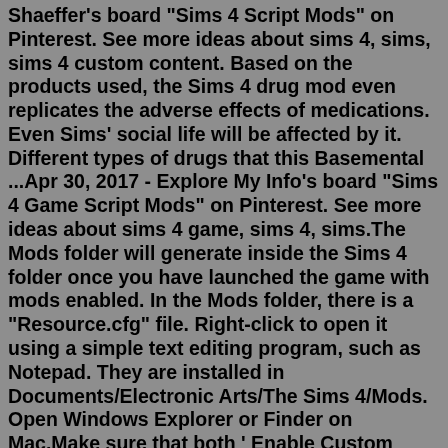Shaeffer's board "Sims 4 Script Mods" on Pinterest. See more ideas about sims 4, sims, sims 4 custom content. Based on the products used, the Sims 4 drug mod even replicates the adverse effects of medications. Even Sims' social life will be affected by it. Different types of drugs that this Basemental ...Apr 30, 2017 - Explore My Info's board "Sims 4 Game Script Mods" on Pinterest. See more ideas about sims 4 game, sims 4, sims.The Mods folder will generate inside the Sims 4 folder once you have launched the game with mods enabled. In the Mods folder, there is a "Resource.cfg" file. Right-click to open it using a simple text editing program, such as Notepad. They are installed in Documents/Electronic Arts/The Sims 4/Mods. Open Windows Explorer or Finder on Mac.Make sure that both ' Enable Custom Content and Mods ' and ' Script Mods Allowed ' are checked. Press ' Apply Changes ' and then restart your game. Any mods that you've now downloaded should be...It takes time on a mod regardless if its a core mod, script mod or just and XML mod. Best Adult Mods